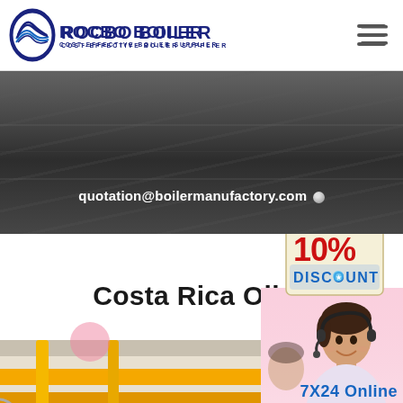[Figure (logo): Rocbo Boiler logo with circular icon and text 'ROCBO BOILER / COST-EFFECTIVE BOILER SUPPLIER']
[Figure (other): Hamburger menu icon (three horizontal lines)]
[Figure (photo): Dark grey industrial/factory background banner]
quotation@boilermanufactory.com
[Figure (infographic): 10% DISCOUNT badge/sticker in red and blue on cream background]
Costa Rica Olive
[Figure (photo): Industrial boiler factory floor with yellow metal frames/pipes]
[Figure (photo): Customer service representative woman with headset smiling]
7X24 Online